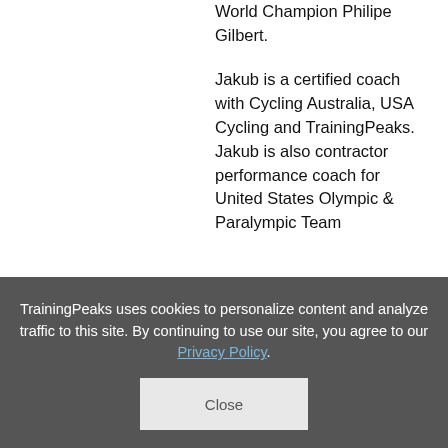World Champion Philipe Gilbert.

Jakub is a certified coach with Cycling Australia, USA Cycling and TrainingPeaks. Jakub is also contractor performance coach for United States Olympic & Paralympic Team
View all Training Plans by
TrainingPeaks uses cookies to personalize content and analyze traffic to this site. By continuing to use our site, you agree to our Privacy Policy.
Close